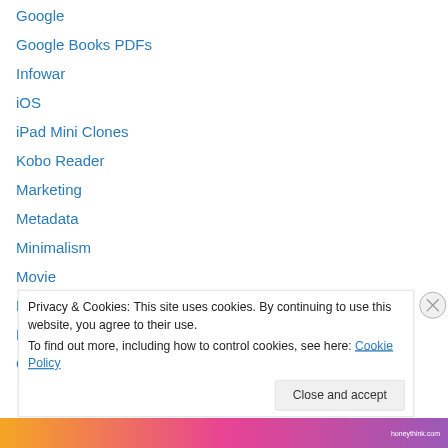Google
Google Books PDFs
Infowar
iOS
iPad Mini Clones
Kobo Reader
Marketing
Metadata
Minimalism
Movie
Music
Napoleon Hill
Other Hardware
Privacy & Cookies: This site uses cookies. By continuing to use this website, you agree to their use. To find out more, including how to control cookies, see here: Cookie Policy
Close and accept